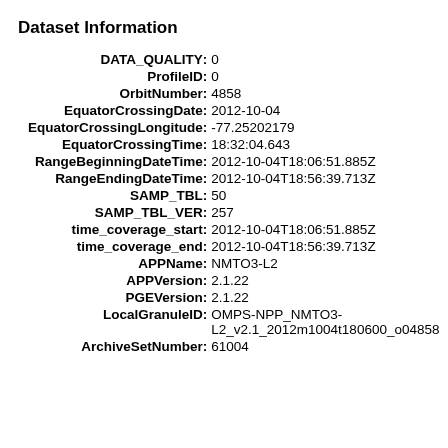Dataset Information
DATA_QUALITY: 0
ProfileID: 0
OrbitNumber: 4858
EquatorCrossingDate: 2012-10-04
EquatorCrossingLongitude: -77.25202179
EquatorCrossingTime: 18:32:04.643
RangeBeginningDateTime: 2012-10-04T18:06:51.885Z
RangeEndingDateTime: 2012-10-04T18:56:39.713Z
SAMP_TBL: 50
SAMP_TBL_VER: 257
time_coverage_start: 2012-10-04T18:06:51.885Z
time_coverage_end: 2012-10-04T18:56:39.713Z
APPName: NMTO3-L2
APPVersion: 2.1.22
PGEVersion: 2.1.22
LocalGranuleID: OMPS-NPP_NMTO3-L2_v2.1_2012m1004t180600_o04858
ArchiveSetNumber: 61004